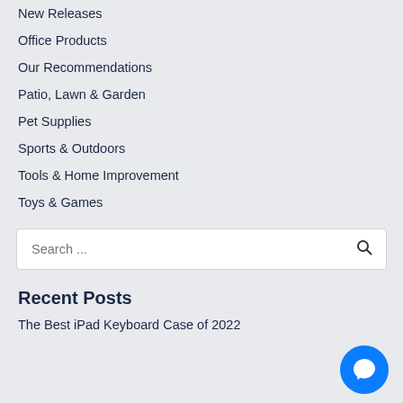New Releases
Office Products
Our Recommendations
Patio, Lawn & Garden
Pet Supplies
Sports & Outdoors
Tools & Home Improvement
Toys & Games
[Figure (other): Search bar with text placeholder 'Search ...' and a magnifying glass icon on the right]
Recent Posts
The Best iPad Keyboard Case of 2022
[Figure (other): Blue circular Facebook Messenger chat button with white messenger lightning bolt icon]